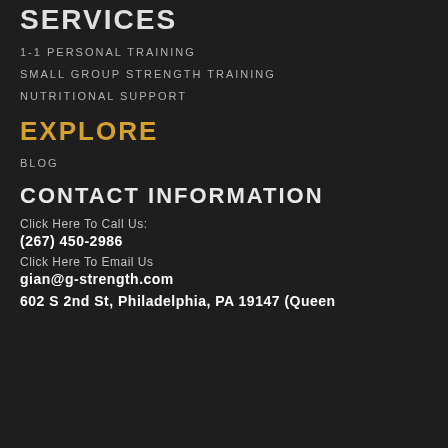SERVICES
1-1 PERSONAL TRAINING
SMALL GROUP STRENGTH TRAINING
NUTRITIONAL SUPPORT
EXPLORE
BLOG
CONTACT INFORMATION
Click Here To Call Us:
(267) 450-2986
Click Here To Email Us
gian@g-strength.com
602 S 2nd St, Philadelphia, PA 19147 (Queen